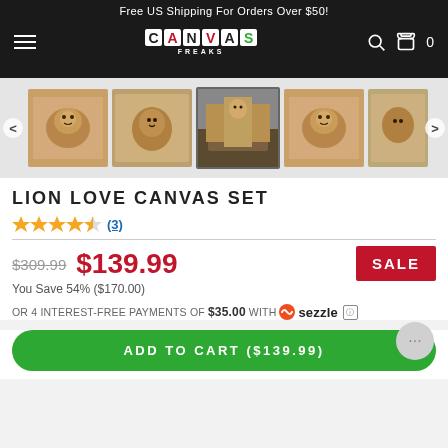Free US Shipping For Orders Over $50!
[Figure (logo): Canvas Freaks logo with colorful block letters on dark navigation bar]
[Figure (photo): Carousel of 5 lion canvas art product thumbnails showing different display styles and room mockups]
LION LOVE CANVAS SET
[Figure (other): 4 out of 5 star rating with 3 reviews]
$309.99 $139.99 SALE You Save 54% ($170.00)
OR 4 INTEREST-FREE PAYMENTS OF $35.00 WITH sezzle
ADD TO CART ($139.99)